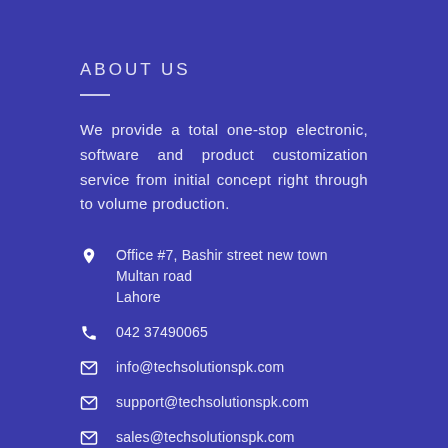ABOUT US
We provide a total one-stop electronic, software and product customization service from initial concept right through to volume production.
Office #7, Bashir street new town Multan road Lahore
042 37490065
info@techsolutionspk.com
support@techsolutionspk.com
sales@techsolutionspk.com
BROWSE